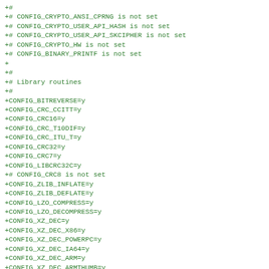+#
+# CONFIG_CRYPTO_ANSI_CPRNG is not set
+# CONFIG_CRYPTO_USER_API_HASH is not set
+# CONFIG_CRYPTO_USER_API_SKCIPHER is not set
+# CONFIG_CRYPTO_HW is not set
+# CONFIG_BINARY_PRINTF is not set
+
+#
+# Library routines
+#
+CONFIG_BITREVERSE=y
+CONFIG_CRC_CCITT=y
+CONFIG_CRC16=y
+CONFIG_CRC_T10DIF=y
+CONFIG_CRC_ITU_T=y
+CONFIG_CRC32=y
+CONFIG_CRC7=y
+CONFIG_LIBCRC32C=y
+# CONFIG_CRC8 is not set
+CONFIG_ZLIB_INFLATE=y
+CONFIG_ZLIB_DEFLATE=y
+CONFIG_LZO_COMPRESS=y
+CONFIG_LZO_DECOMPRESS=y
+CONFIG_XZ_DEC=y
+CONFIG_XZ_DEC_X86=y
+CONFIG_XZ_DEC_POWERPC=y
+CONFIG_XZ_DEC_IA64=y
+CONFIG_XZ_DEC_ARM=y
+CONFIG_XZ_DEC_ARMTHUMB=y
+CONFIG_XZ_DEC_SPARC=y
+CONFIG_XZ_DEC_BCJ=y
+# CONFIG_XZ_DEC_TEST is not set